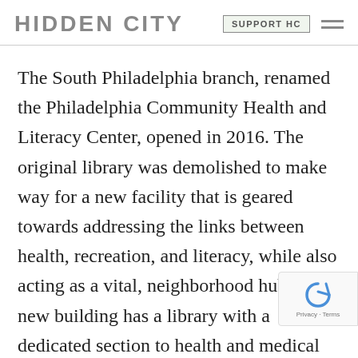HIDDEN CITY | SUPPORT HC
The South Philadelphia branch, renamed the Philadelphia Community Health and Literacy Center, opened in 2016. The original library was demolished to make way for a new facility that is geared towards addressing the links between health, recreation, and literacy, while also acting as a vital, neighborhood hub. The new building has a library with a dedicated section to health and medical literacy on the first apediatric and primary care facility on second floor and a small designed recreation